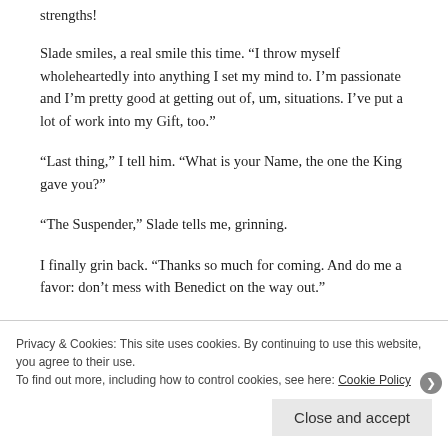strengths!
Slade smiles, a real smile this time. “I throw myself wholeheartedly into anything I set my mind to. I’m passionate and I’m pretty good at getting out of, um, situations. I’ve put a lot of work into my Gift, too.”
“Last thing,” I tell him. “What is your Name, the one the King gave you?”
“The Suspender,” Slade tells me, grinning.
I finally grin back. “Thanks so much for coming. And do me a favor: don’t mess with Benedict on the way out.”
He frowns, fakely; his eyes are laughing. “All right, I’ll try not
Privacy & Cookies: This site uses cookies. By continuing to use this website, you agree to their use.
To find out more, including how to control cookies, see here: Cookie Policy
Close and accept